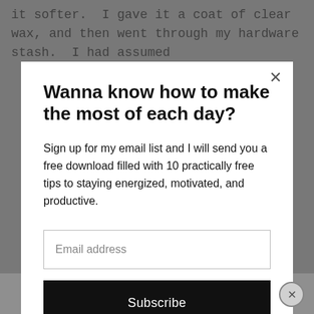it softer.  I gave it a coat of clear wax, and then went through my hardware stash.  I had assumed
Wanna know how to make the most of each day?
Sign up for my email list and I will send you a free download filled with 10 practically free tips to staying energized, motivated, and productive.
Email address
Subscribe